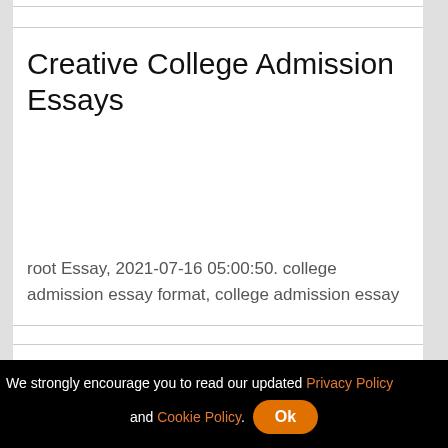Creative College Admission Essays
root Essay, 2021-07-16 05:00:50. college admission essay format, college admission essay
Stanford Application Requirements
We strongly encourage you to read our updated Privacy Policy and Cookie Policy. Ok